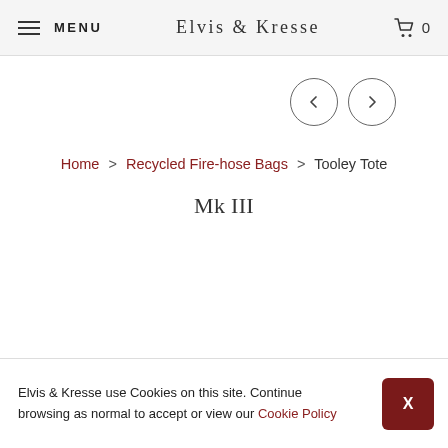MENU  ELVIS & KRESSE  0
[Figure (other): Navigation arrows: left arrow and right arrow in circular borders]
Home > Recycled Fire-hose Bags > Tooley Tote Mk III
Tooley Tote Mk III
Elvis & Kresse use Cookies on this site. Continue browsing as normal to accept or view our Cookie Policy